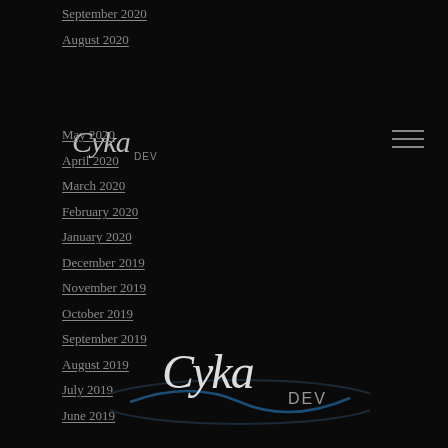September 2020
August 2020
[Figure (logo): CykaDEV logo in top navigation area, white script text on dark background]
May 2020
April 2020
March 2020
February 2020
January 2020
[Figure (logo): CykaDEV logo centered with elliptical blue/dark swoosh ring underneath]
December 2019
November 2019
October 2019
September 2019
August 2019
July 2019
June 2019